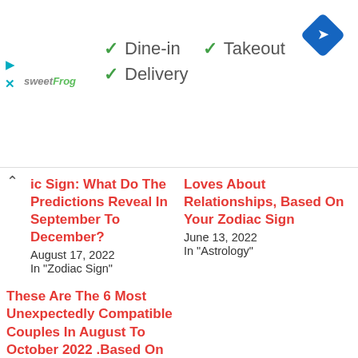[Figure (other): sweetFrog restaurant ad banner with checkmarks for Dine-in, Takeout, Delivery options and a blue navigation diamond icon]
ic Sign: What Do The Predictions Reveal In September To December?
August 17, 2022
In "Zodiac Sign"
Loves About Relationships, Based On Your Zodiac Sign
June 13, 2022
In "Astrology"
These Are The 6 Most Unexpectedly Compatible Couples In August To October 2022 .Based On Your Zodiac
July 21, 2022
In "Zodiac Sign"